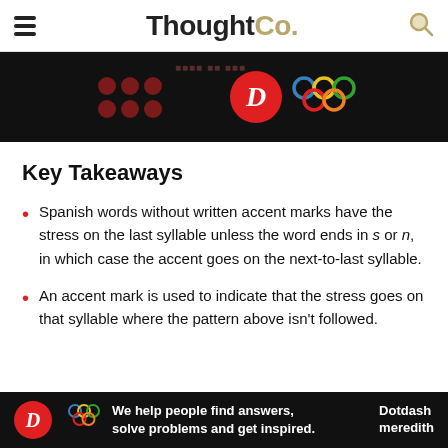ThoughtCo.
[Figure (screenshot): Advertisement banner with dark background showing red dots pattern on left, red D logo circle in center, and Olympic-style colored rings logo on right]
Key Takeaways
Spanish words without written accent marks have the stress on the last syllable unless the word ends in s or n, in which case the accent goes on the next-to-last syllable.
An accent mark is used to indicate that the stress goes on that syllable where the pattern above isn't followed.
[Figure (screenshot): Dotdash Meredith bottom advertisement banner: 'We help people find answers, solve problems and get inspired.' with D circle logo and Dotdash meredith text]